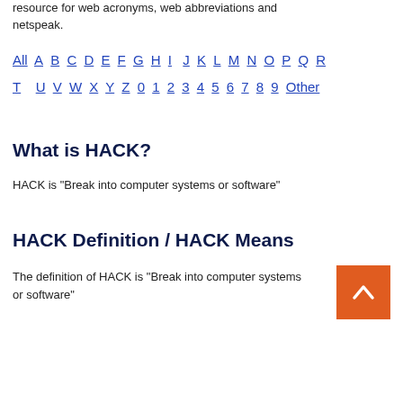resource for web acronyms, web abbreviations and netspeak.
All A B C D E F G H I J K L M N O P Q R T U V W X Y Z 0 1 2 3 4 5 6 7 8 9 Other
What is HACK?
HACK is "Break into computer systems or software"
HACK Definition / HACK Means
The definition of HACK is "Break into computer systems or software"